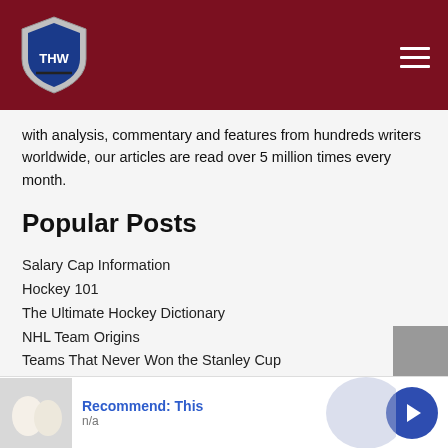THW - The Hockey Writers
with analysis, commentary and features from hundreds writers worldwide, our articles are read over 5 million times every month.
Popular Posts
Salary Cap Information
Hockey 101
The Ultimate Hockey Dictionary
NHL Team Origins
Teams That Never Won the Stanley Cup
The Original 6
Jerseys from Defunct NHL Clubs
[Figure (infographic): Advertisement banner with egg image, 'Recommend: This' text in blue, 'n/a' subtitle, and a blue circular arrow button]